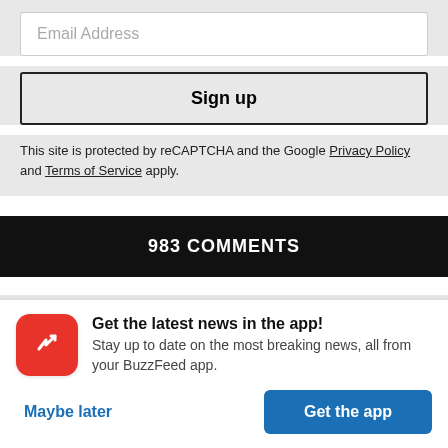[Figure (screenshot): Email Address input field (placeholder text)]
[Figure (screenshot): Sign up button]
This site is protected by reCAPTCHA and the Google Privacy Policy and Terms of Service apply.
983 COMMENTS
[Figure (screenshot): Gray bar / partial UI element]
Get the latest news in the app! Stay up to date on the most breaking news, all from your BuzzFeed app.
Maybe later
Get the app